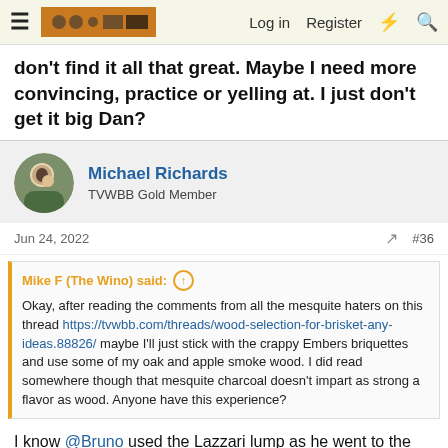≡ [TVWBB Logo] Log in Register ⚡ 🔍
don't find it all that great. Maybe I need more convincing, practice or yelling at. I just don't get it big Dan?
Michael Richards
TVWBB Gold Member
Jun 24, 2022  #36
Mike F (The Wino) said: ↑
Okay, after reading the comments from all the mesquite haters on this thread https://tvwbb.com/threads/wood-selection-for-brisket-any-ideas.88826/ maybe I'll just stick with the crappy Embers briquettes and use some of my oak and apple smoke wood. I did read somewhere though that mesquite charcoal doesn't impart as strong a flavor as wood. Anyone have this experience?
I know @Bruno used the Lazzari lump as he went to the factory here.
Lazzari's factory in Ca